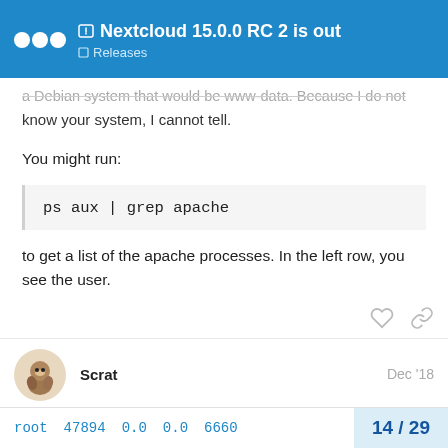Nextcloud 15.0.0 RC 2 is out — Releases
a Debian system that would be www-data. Because I do not know your system, I cannot tell.
You might run:
ps aux | grep apache
to get a list of the apache processes. In the left row, you see the user.
Scrat   Dec '18
[root@nextcloud /usr/local/www/apache24/data/ne
root   47894   0.0   0.0   6660
14 / 29